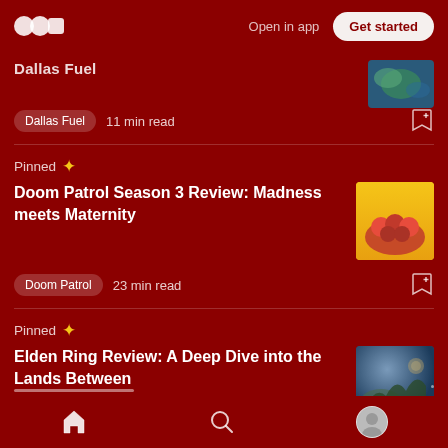[Figure (screenshot): Medium app top navigation bar with logo, 'Open in app' text, and 'Get started' button on dark red background]
Dallas Fuel
11 min read
Pinned
Doom Patrol Season 3 Review: Madness meets Maternity
Doom Patrol  23 min read
Pinned
Elden Ring Review: A Deep Dive into the Lands Between